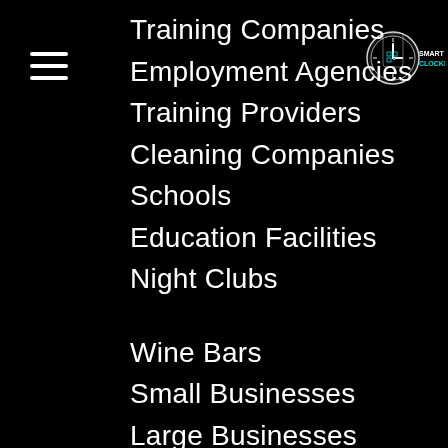[Figure (logo): Smart ClockIn logo — a QR-code clock face with the text SMART CLOCKIN]
Training Companies
Employment Agencies
Training Providers
Cleaning Companies
Schools
Education Facilities
Night Clubs
Wine Bars
Small Businesses
Large Businesses
Gyms
Festival Organisers
Party Planners